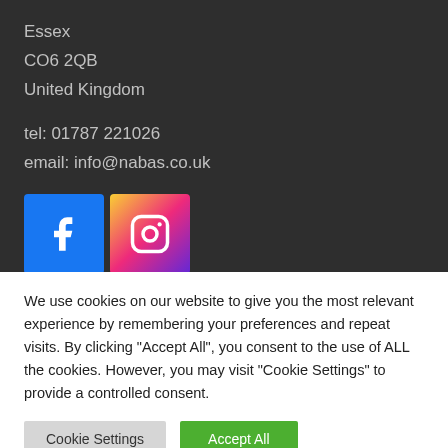Essex
CO6 2QB
United Kingdom
tel: 01787 221026
email: info@nabas.co.uk
[Figure (other): Social media icons: Facebook (blue square with white 'f') and Instagram (gradient square with white camera icon)]
We use cookies on our website to give you the most relevant experience by remembering your preferences and repeat visits. By clicking "Accept All", you consent to the use of ALL the cookies. However, you may visit "Cookie Settings" to provide a controlled consent.
Cookie Settings    Accept All